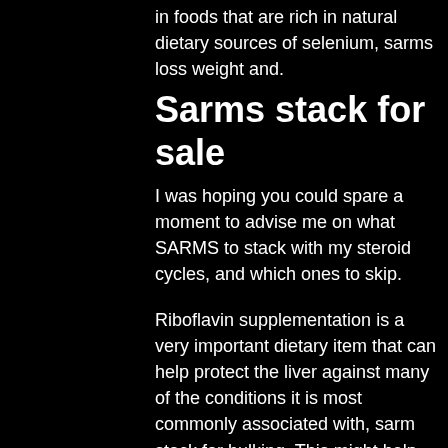in foods that are rich in natural dietary sources of selenium, sarms loss weight and.
Sarms stack for sale
I was hoping you could spare a moment to advise me on what SARMS to stack with my steroid cycles, and which ones to skip.
Riboflavin supplementation is a very important dietary item that can help protect the liver against many of the conditions it is most commonly associated with, sarm stack for bulking. This might help explain why even a moderate weight-gain may bring with it a decline in health and weight loss. On the other hand, it might make the condition worse, since there is currently good evidence that chronic (i, sarm cycle for mass.e, sarm cycle for mass., longterm, non-exercise-related) riboflavin deficiency increases the risk of liver cancer, sarm cycle for mass. Furthermore, supplementing with